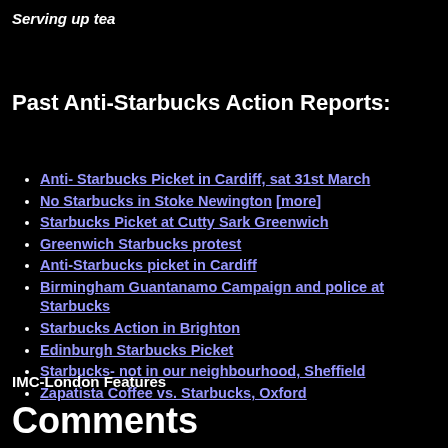Serving up tea
Past Anti-Starbucks Action Reports:
Anti- Starbucks Picket in Cardiff, sat 31st March
No Starbucks in Stoke Newington [more]
Starbucks Picket at Cutty Sark Greenwich
Greenwich Starbucks protest
Anti-Starbucks picket in Cardiff
Birmingham Guantanamo Campaign and police at Starbucks
Starbucks Action in Brighton
Edinburgh Starbucks Picket
Starbucks- not in our neighbourhood, Sheffield
Zapatista Coffee vs. Starbucks, Oxford
IMC-London Features
Comments